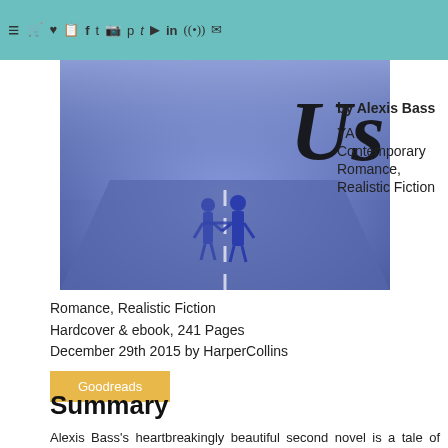≡  🛒 ♥ 📋 f t 📷 p t 🎬 in ⊕ ✉
[Figure (photo): Book cover showing two figures holding hands walking on a road with purple/blue fog, with cursive title 'Us' in large black script]
by Alexis Bass
YA Contemporary Romance, Realistic Fiction
Hardcover & ebook, 241 Pages
December 29th 2015 by HarperCollins
Goodreads
Summary
Alexis Bass's heartbreakingly beautiful second novel is a tale of love, loss, and learning to forgive.